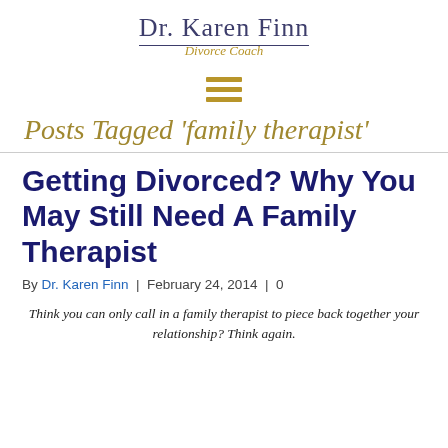Dr. Karen Finn Divorce Coach
[Figure (other): Hamburger menu icon — three horizontal dark gold bars]
Posts Tagged 'family therapist'
Getting Divorced? Why You May Still Need A Family Therapist
By Dr. Karen Finn | February 24, 2014 | 0
Think you can only call in a family therapist to piece back together your relationship? Think again.